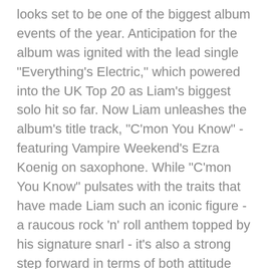looks set to be one of the biggest album events of the year. Anticipation for the album was ignited with the lead single "Everything's Electric," which powered into the UK Top 20 as Liam's biggest solo hit so far. Now Liam unleashes the album's title track, "C'mon You Know" - featuring Vampire Weekend's Ezra Koenig on saxophone. While "C'mon You Know" pulsates with the traits that have made Liam such an iconic figure - a raucous rock 'n' roll anthem topped by his signature snarl - it's also a strong step forward in terms of both attitude and audio. Musically it's layered with unexpected sonic touches: surging Motown-tinged gospel backing vocals, shrieking saxophone from Ezra Koenig, and vintage Moog synths heightening the sonic maelstrom. Liam's lyrics also come from a fresh place: rather than being combative, his words brim with positivity and the joy of being reunited with friends, family and fans. As he openly admits, "I'm sick of being tough." The song was written solely by Liam and was produced by his regular creative collaborator, the